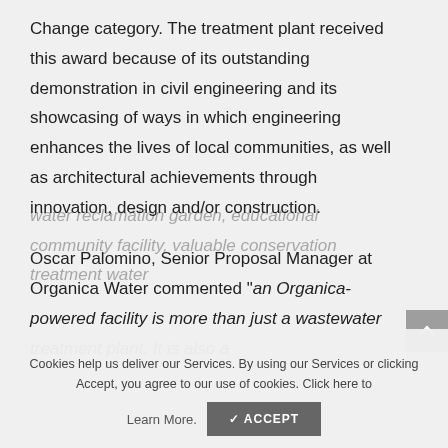Change category. The treatment plant received this award because of its outstanding demonstration in civil engineering and its showcasing of ways in which engineering enhances the lives of local communities, as well as architectural achievements through innovation, design and/or construction.
Oscar Palomino, Senior Proposal Manager at Organica Water commented "an Organica-powered facility is more than just a wastewater treatment plant. It is also a water reclamation garden, educational community facility, valuable conservation water
Cookies help us deliver our Services. By using our Services or clicking Accept, you agree to our use of cookies. Click here to Learn More.